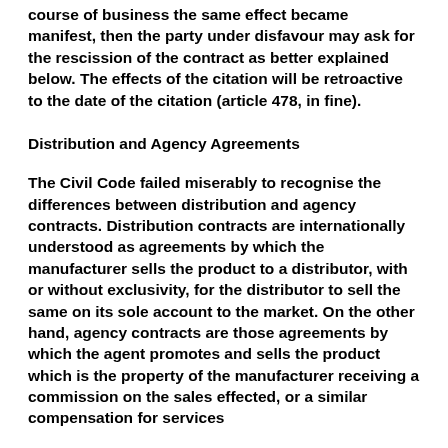course of business the same effect became manifest, then the party under disfavour may ask for the rescission of the contract as better explained below. The effects of the citation will be retroactive to the date of the citation (article 478, in fine).
Distribution and Agency Agreements
The Civil Code failed miserably to recognise the differences between distribution and agency contracts. Distribution contracts are internationally understood as agreements by which the manufacturer sells the product to a distributor, with or without exclusivity, for the distributor to sell the same on its sole account to the market. On the other hand, agency contracts are those agreements by which the agent promotes and sells the product which is the property of the manufacturer receiving a commission on the sales effected, or a similar compensation for services